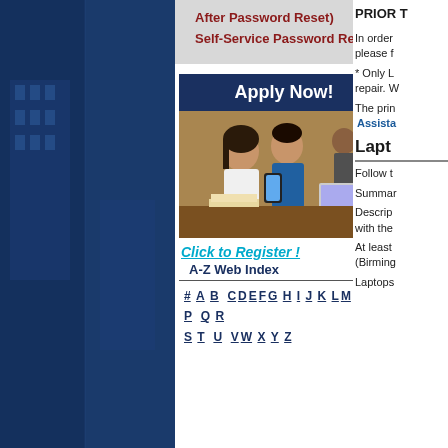After Password Reset)
Self-Service Password Reset
[Figure (photo): Apply Now! banner with photo of students studying, and Click to Register link]
A-Z Web Index
# A B  C D E F G H I J K L M N  O P  Q R  S T  U  V W X Y Z
PRIOR T
In order please f
* Only L repair. W
The prin Assista
Lapt
Follow t
Summar
Descrip with the
At least (Birming
Laptops